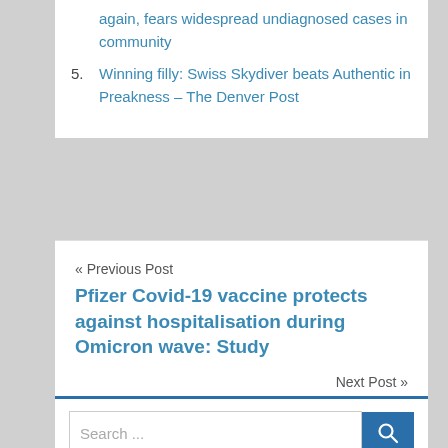again, fears widespread undiagnosed cases in community
5. Winning filly: Swiss Skydiver beats Authentic in Preakness – The Denver Post
« Previous Post
Pfizer Covid-19 vaccine protects against hospitalisation during Omicron wave: Study
Next Post »
Harrowing image shows Star Hobsons bruised body months before she was murdered
Search ...